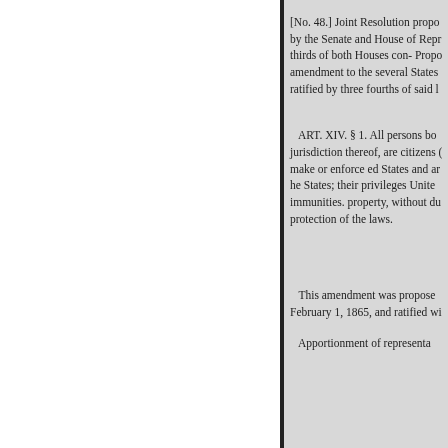[No. 48.] Joint Resolution propo by the Senate and House of Repr thirds of both Houses con- Propo amendment to the several States ratified by three fourths of said l
ART. XIV. § 1. All persons bo jurisdiction thereof, are citizens make or enforce ed States and ar he States; their privileges Unite immunities. property, without du protection of the laws.
This amendment was propose February 1, 1865, and ratified wi
Apportionment of representa